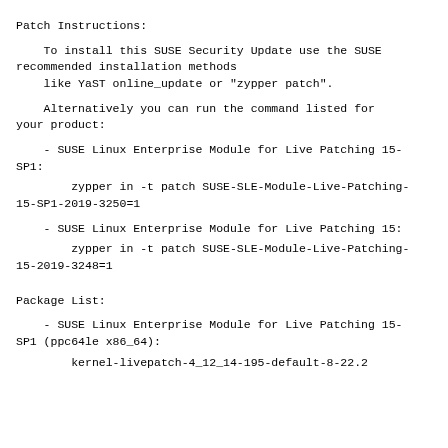Patch Instructions:
To install this SUSE Security Update use the SUSE recommended installation methods
    like YaST online_update or "zypper patch".
Alternatively you can run the command listed for your product:
- SUSE Linux Enterprise Module for Live Patching 15-SP1:
zypper in -t patch SUSE-SLE-Module-Live-Patching-15-SP1-2019-3250=1
- SUSE Linux Enterprise Module for Live Patching 15:
zypper in -t patch SUSE-SLE-Module-Live-Patching-15-2019-3248=1
Package List:
- SUSE Linux Enterprise Module for Live Patching 15-SP1 (ppc64le x86_64):
kernel-livepatch-4_12_14-195-default-8-22.2